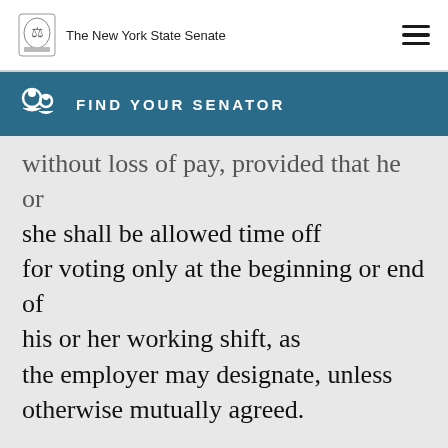The New York State Senate
FIND YOUR SENATOR
without loss of pay, provided that he or she shall be allowed time off for voting only at the beginning or end of his or her working shift, as the employer may designate, unless otherwise mutually agreed.
3. If the employee requires working time off to vote the employee shall notify his or her employer not more than ten nor less than two working days before the day of the